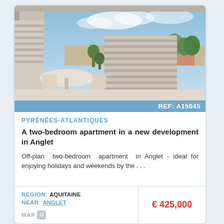[Figure (photo): Outdoor terrace/balcony of an apartment with patio furniture, wooden slat fence, and blue sky background in Anglet, France]
REF: A15045
PYRÉNÉES-ATLANTIQUES
A two-bedroom apartment in a new development in Anglet
Off-plan two-bedroom apartment in Anglet - ideal for enjoying holidays and weekends by the . . .
REGION: AQUITAINE
NEAR: ANGLET
MAP
€ 425,000